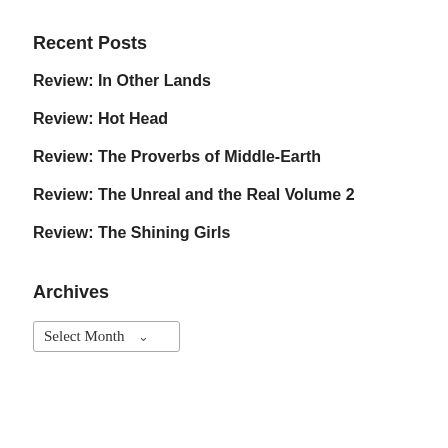Recent Posts
Review: In Other Lands
Review: Hot Head
Review: The Proverbs of Middle-Earth
Review: The Unreal and the Real Volume 2
Review: The Shining Girls
Archives
Select Month